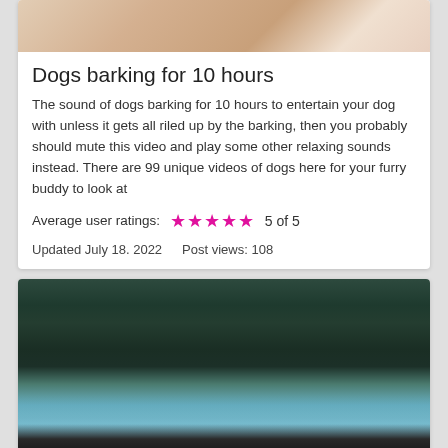[Figure (photo): Partial view of dogs/pets on a light background, cropped at top]
Dogs barking for 10 hours
The sound of dogs barking for 10 hours to entertain your dog with unless it gets all riled up by the barking, then you probably should mute this video and play some other relaxing sounds instead. There are 99 unique videos of dogs here for your furry buddy to look at
Average user ratings: ★★★★★ 5 of 5
Updated July 18. 2022   Post views: 108
[Figure (photo): River flowing through a rocky gorge surrounded by dense dark green forest and misty atmosphere]